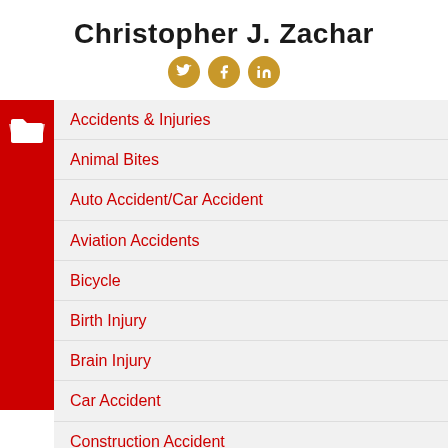Christopher J. Zachar
[Figure (illustration): Three circular social media icons (Twitter, Facebook, LinkedIn) in golden/amber color]
Accidents & Injuries
Animal Bites
Auto Accident/Car Accident
Aviation Accidents
Bicycle
Birth Injury
Brain Injury
Car Accident
Construction Accident
Cruise Ship Injury